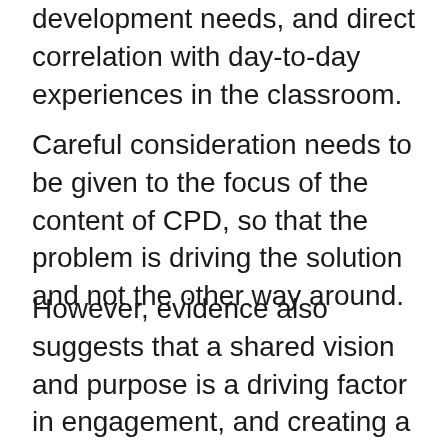development needs, and direct correlation with day-to-day experiences in the classroom.
Careful consideration needs to be given to the focus of the content of CPD, so that the problem is driving the solution and not the other way around.
However, evidence also suggests that a shared vision and purpose is a driving factor in engagement, and creating a culture of continual supported learning and development is key to success.
With the stakes so high for pupils, and a